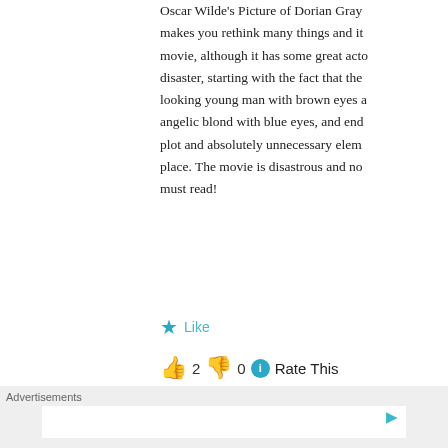Oscar Wilde's Picture of Dorian Gray makes you rethink many things and it movie, although it has some great acto disaster, starting with the fact that the looking young man with brown eyes a angelic blond with blue eyes, and end plot and absolutely unnecessary elem place. The movie is disastrous and no must read!
★ Like
👍 2 👎 0 ℹ Rate This
[Figure (logo): Blue square avatar with white power/circle icon]
Debra says:
April 30, 2013 at 3:46 pm
Advertisements